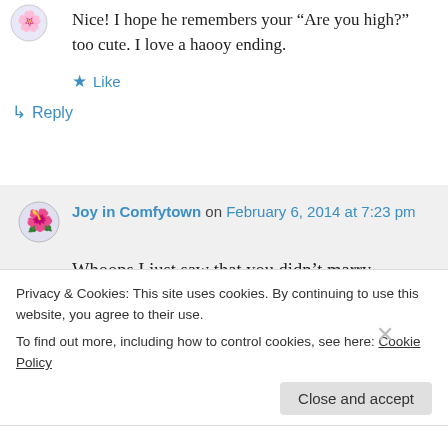Nice! I hope he remembers your “Are you high?” too cute. I love a haooy ending.
★ Like
↳ Reply
Joy in Comfytown on February 6, 2014 at 7:23 pm
Whoops I just saw that you didn’t marry
Privacy & Cookies: This site uses cookies. By continuing to use this website, you agree to their use.
To find out more, including how to control cookies, see here: Cookie Policy
Close and accept